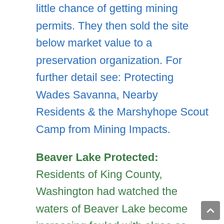little chance of getting mining permits. They then sold the site below market value to a preservation organization. For further detail see: Protecting Wades Savanna, Nearby Residents & the Marshyhope Scout Camp from Mining Impacts.
Beaver Lake Protected: Residents of King County, Washington had watched the waters of Beaver Lake become increasing fouled with algae as area development increased. An analysis by CEDS documented that development was the cause and that the lake was near a critical threshold. If development increased further then the lake could reach a point where severe problems with odor, fish kills and loss of property value would occur. This finding prompted County officials to require a full environmental impact statement for any new development...